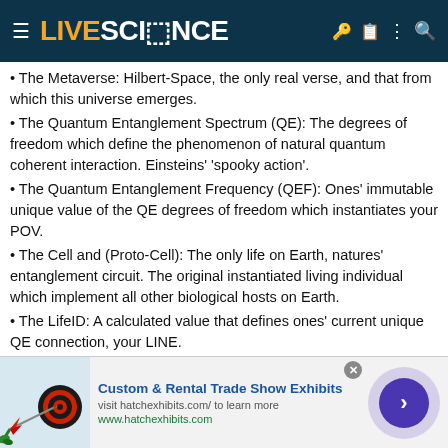LIVESCIENCE
The Metaverse: Hilbert-Space, the only real verse, and that from which this universe emerges.
The Quantum Entanglement Spectrum (QE): The degrees of freedom which define the phenomenon of natural quantum coherent interaction. Einsteins' 'spooky action'.
The Quantum Entanglement Frequency (QEF): Ones' immutable unique value of the QE degrees of freedom which instantiates your POV.
The Cell and (Proto-Cell): The only life on Earth, natures' entanglement circuit. The original instantiated living individual which implement all other biological hosts on Earth.
The LifeID: A calculated value that defines ones' current unique QE connection, your LINE.
The Entanglement Cells; Individual cells responsible for heterodyning their unique LINES in complex hosts to establish your LifeID.
Metamatter: A non-local Weakly Interacting Cosmic Background Bose Condensate (CBBC) that…
[Figure (advertisement): Ad for Custom & Rental Trade Show Exhibits by hatchexhibits.com, with dart board image on left and arrow button on right.]